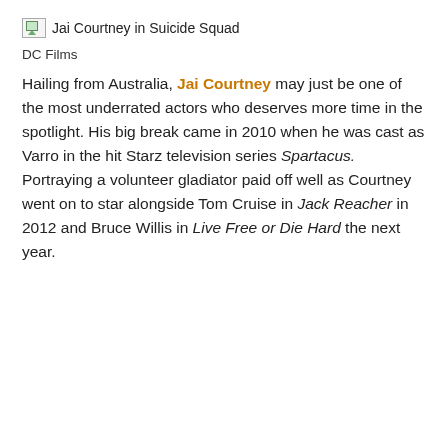[Figure (photo): Broken image placeholder for Jai Courtney in Suicide Squad]
DC Films
Hailing from Australia, Jai Courtney may just be one of the most underrated actors who deserves more time in the spotlight. His big break came in 2010 when he was cast as Varro in the hit Starz television series Spartacus. Portraying a volunteer gladiator paid off well as Courtney went on to star alongside Tom Cruise in Jack Reacher in 2012 and Bruce Willis in Live Free or Die Hard the next year.